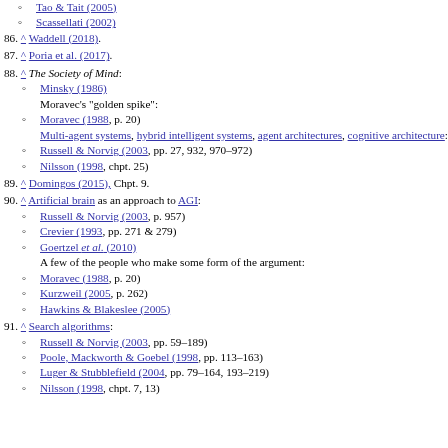Tao & Tait (2005)
Scassellati (2002)
86. ^ Waddell (2018).
87. ^ Poria et al. (2017).
88. ^ The Society of Mind: Minsky (1986) Moravec's "golden spike": Moravec (1988, p. 20) Multi-agent systems, hybrid intelligent systems, agent architectures, cognitive architecture: Russell & Norvig (2003, pp. 27, 932, 970–972) Nilsson (1998, chpt. 25)
89. ^ Domingos (2015), Chpt. 9.
90. ^ Artificial brain as an approach to AGI: Russell & Norvig (2003, p. 957) Crevier (1993, pp. 271 & 279) Goertzel et al. (2010) A few of the people who make some form of the argument: Moravec (1988, p. 20) Kurzweil (2005, p. 262) Hawkins & Blakeslee (2005)
91. ^ Search algorithms: Russell & Norvig (2003, pp. 59–189) Poole, Mackworth & Goebel (1998, pp. 113–163) Luger & Stubblefield (2004, pp. 79–164, 193–219) Nilsson (1998, chpt. 7, 13)